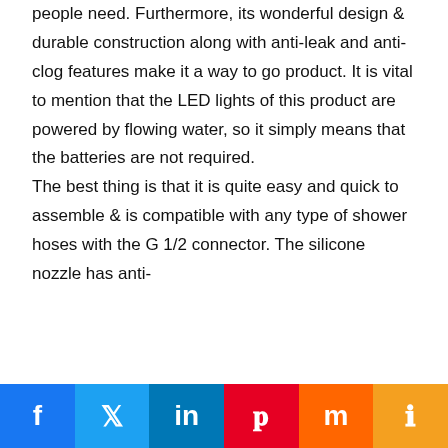people need. Furthermore, its wonderful design & durable construction along with anti-leak and anti-clog features make it a way to go product. It is vital to mention that the LED lights of this product are powered by flowing water, so it simply means that the batteries are not required.

The best thing is that it is quite easy and quick to assemble & is compatible with any type of shower hoses with the G 1/2 connector. The silicone nozzle has anti-
Facebook | Twitter | LinkedIn | Pinterest | Mix | Share